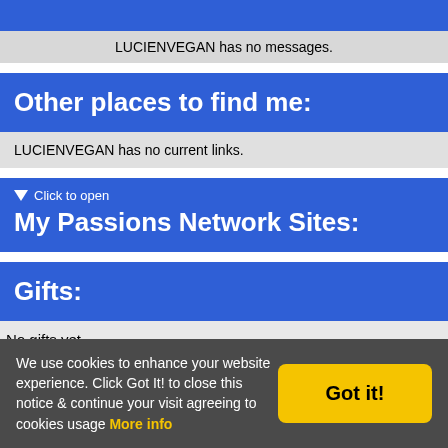LUCIENVEGAN has no messages.
Other places to find me:
LUCIENVEGAN has no current links.
▼ Click to open
My Passions Network Sites:
Gifts:
No gifts yet
Ad Bar
We use cookies to enhance your website experience. Click Got It! to close this notice & continue your visit agreeing to cookies usage More info
Got it!